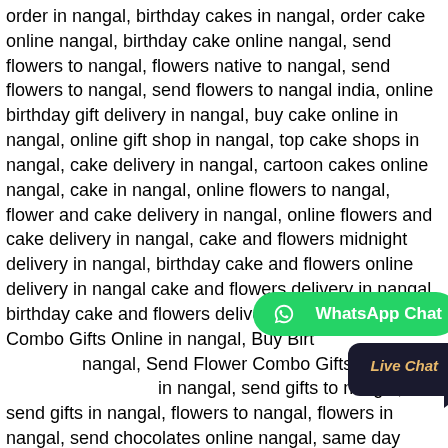order in nangal, birthday cakes in nangal, order cake online nangal, birthday cake online nangal, send flowers to nangal, flowers native to nangal, send flowers to nangal, send flowers to nangal india, online birthday gift delivery in nangal, buy cake online in nangal, online gift shop in nangal, top cake shops in nangal, cake delivery in nangal, cartoon cakes online nangal, cake in nangal, online flowers to nangal, flower and cake delivery in nangal, online flowers and cake delivery in nangal, cake and flowers midnight delivery in nangal, birthday cake and flowers online delivery in nangal cake and flowers delivery in nangal, birthday cake and flowers delivery in nangal, Send Combo Gifts Online in nangal, Buy Birthday ... nangal, Send Flower Combo Gifts to na... in nangal, send gifts to nangal, send gifts in nangal, flowers to nangal, flowers in nangal, send chocolates online nangal, same day chocolate delivery in nangal, send flowers to rupnagar punjab, send cake and flowers to rupnagar, send flowers in rupnagar india, send flowers online rupnagar, send flowers in rupnagar, online cake and flower delivery in mohali, midnight cake delivery in rupnagar, customized cakes in rupnagar, gift shop in rupnagar, online cake delivery in rupnagar, online gift delivery in rupnagar, egg... bakery in rupnagar, online birthday gifts delivery in rupnagar, photo cake price in rupnagar, online cake delivery in rupnagar online
[Figure (other): WhatsApp Chat button - green rounded button with WhatsApp icon and text 'WhatsApp Chat']
[Figure (other): Live Chat button - dark rounded button with gold italic text 'Live Chat']